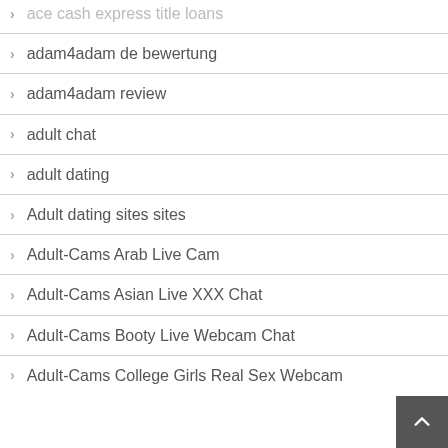ace cash express title loans
adam4adam de bewertung
adam4adam review
adult chat
adult dating
Adult dating sites sites
Adult-Cams Arab Live Cam
Adult-Cams Asian Live XXX Chat
Adult-Cams Booty Live Webcam Chat
Adult-Cams College Girls Real Sex Webcam